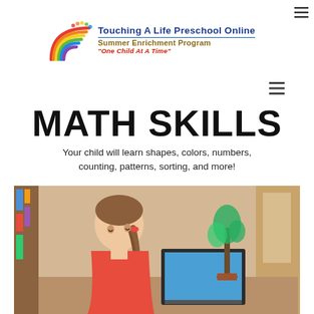[Figure (logo): Touching A Life Preschool Online Summer Enrichment Program logo with rainbow and colorful handprints]
MATH SKILLS
Your child will learn shapes, colors, numbers, counting, patterns, sorting, and more!
[Figure (photo): A young girl with a braid looking at a laptop screen, with a plant in the background]